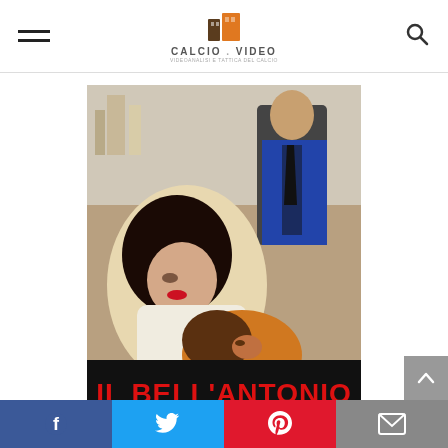CALCIO.VIDEO
[Figure (illustration): Movie poster for 'IL BELL'ANTONIO' showing a dramatic scene with a woman leaning over a man, and an older man in the background. Title text 'IL BELL'ANTONIO' in bold red letters at the bottom of the poster.]
Il Bell'Antonio
[Figure (infographic): Social media share buttons bar: Facebook (blue), Twitter (light blue), Pinterest (red), Email (grey)]